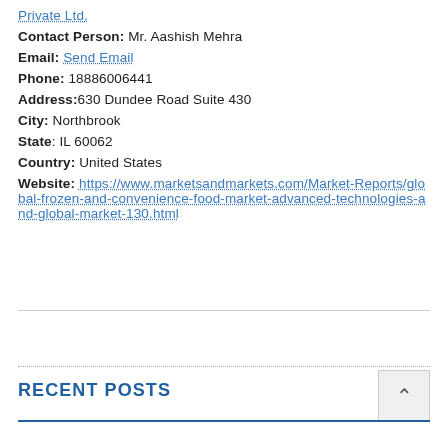Private Ltd.
Contact Person: Mr. Aashish Mehra
Email: Send Email
Phone: 18886006441
Address: 630 Dundee Road Suite 430
City: Northbrook
State: IL 60062
Country: United States
Website: https://www.marketsandmarkets.com/Market-Reports/global-frozen-and-convenience-food-market-advanced-technologies-and-global-market-130.html
RECENT POSTS